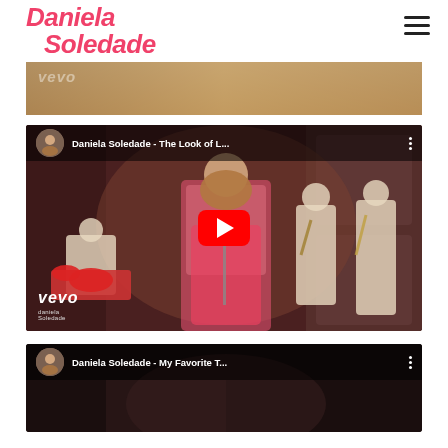Daniela Soledade
[Figure (screenshot): Partial YouTube video thumbnail showing Vevo watermark at top, cropped from previous video]
[Figure (screenshot): YouTube embedded video: Daniela Soledade - The Look of L... with red play button overlay, Vevo watermark, singer in red dress with band in background]
[Figure (screenshot): Partial YouTube video thumbnail showing Daniela Soledade - My Favorite T... title bar at top, cropped]